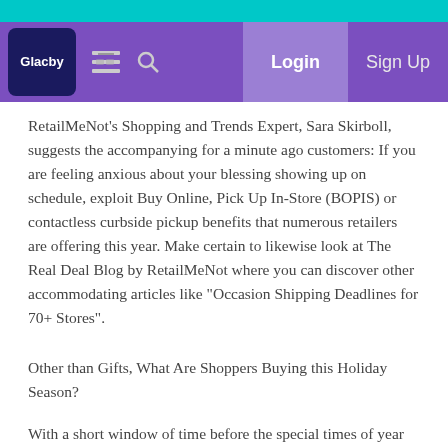Glacby navigation bar with Login and Sign Up
RetailMeNot's Shopping and Trends Expert, Sara Skirboll, suggests the accompanying for a minute ago customers: If you are feeling anxious about your blessing showing up on schedule, exploit Buy Online, Pick Up In-Store (BOPIS) or contactless curbside pickup benefits that numerous retailers are offering this year. Make certain to likewise look at The Real Deal Blog by RetailMeNot where you can discover other accommodating articles like "Occasion Shipping Deadlines for 70+ Stores".
Other than Gifts, What Are Shoppers Buying this Holiday Season?
With a short window of time before the special times of year